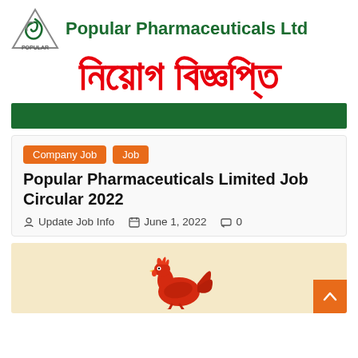[Figure (logo): Popular Pharmaceuticals Ltd logo with stylized bird/leaf icon and company name in dark green]
নিয়োগ বিজ্ঞপ্তি
[Figure (other): Dark green horizontal banner bar]
Company Job
Job
Popular Pharmaceuticals Limited Job Circular 2022
Update Job Info   June 1, 2022   0
[Figure (illustration): Red rooster/chicken illustration on a beige/tan background with orange scroll-to-top button]